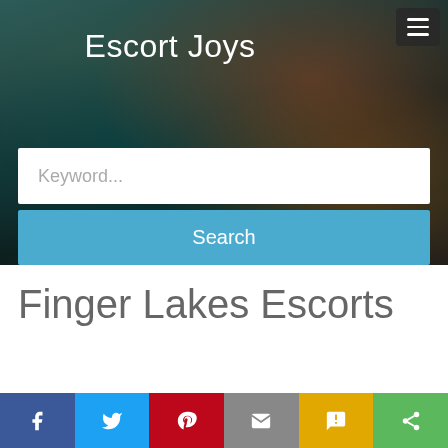[Figure (screenshot): Website hero banner with blurred city nighttime street background, dark overlay with orange and teal tones]
Escort Joys
Keyword...
Search
Finger Lakes Escorts
[Figure (photo): Partial thumbnail of a person, cropped at bottom of page]
[Figure (infographic): Social sharing bar with Facebook, Twitter, Pinterest, Email, SMS, and share buttons]